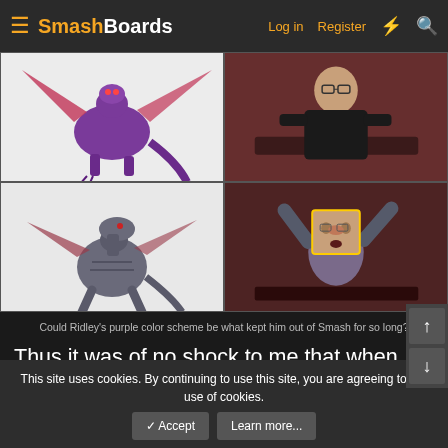SmashBoards — Log in  Register
[Figure (screenshot): Four-panel image grid: top-left shows Ridley (purple dragon) character art from Metroid/early Smash; top-right shows a man in black sitting at a table (Sakurai meme); bottom-left shows a darker/desaturated Ridley art; bottom-right shows a man raising his hands (Sakurai excited meme with face inset).]
Could Ridley's purple color scheme be what kept him out of Smash for so long?
Thus it was of no shock to me that when Sakurai finally did add Ridley in Super Smash Bros. Ultimate, he was noticeably desaturated compared to his past appearances in
This site uses cookies. By continuing to use this site, you are agreeing to our use of cookies.